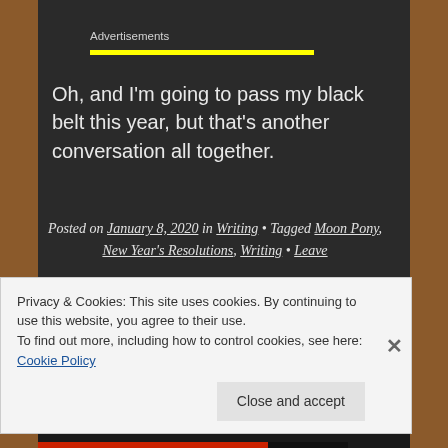Advertisements
Oh, and I'm going to pass my black belt this year, but that's another conversation all together.
Posted on January 8, 2020 in Writing • Tagged Moon Pony, New Year's Resolutions, Writing • Leave
Privacy & Cookies: This site uses cookies. By continuing to use this website, you agree to their use.
To find out more, including how to control cookies, see here: Cookie Policy
Close and accept